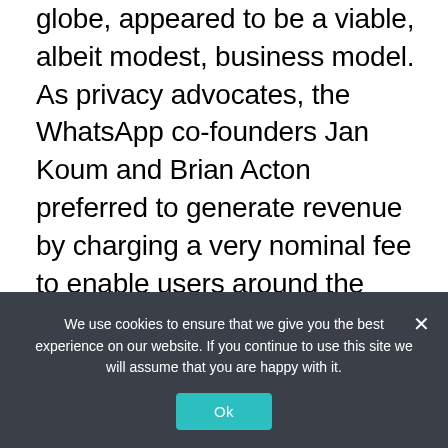globe, appeared to be a viable, albeit modest, business model. As privacy advocates, the WhatsApp co-founders Jan Koum and Brian Acton preferred to generate revenue by charging a very nominal fee to enable users around the world to communicate privately. By doing this, they avoided having to aggregate and sell user information to advertisers – a common business model of "free" apps.
What's Up With WhatsApp?
We use cookies to ensure that we give you the best experience on our website. If you continue to use this site we will assume that you are happy with it.